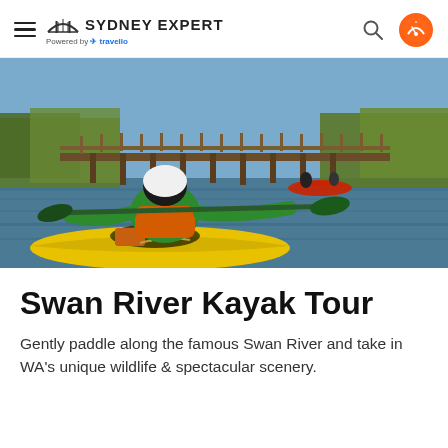Sydney Expert – Powered by Travello
[Figure (photo): Kayakers on a river with a wooden bridge in the background. Foreground shows a person in green shirt and white helmet in a yellow kayak; another red kayak is visible further ahead. Scene is surrounded by green trees and calm water.]
Swan River Kayak Tour
Gently paddle along the famous Swan River and take in WA's unique wildlife & spectacular scenery.